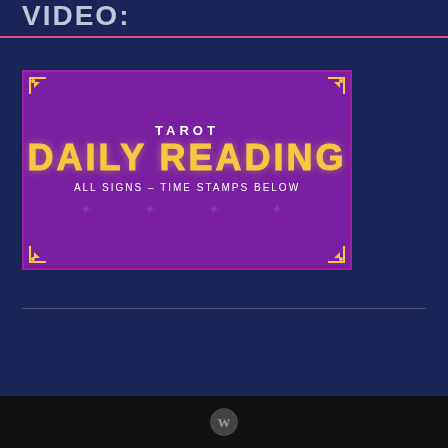VIDEO:
[Figure (screenshot): Tarot Daily Reading thumbnail image on dark purple background. Shows text 'TAROT' at top, 'DAILY READING' in large art deco yellow font, 'ALL SIGNS - TIME STAMPS BELOW' below it, with decorative stars and corner ornaments in gold.]
WordPress logo icon